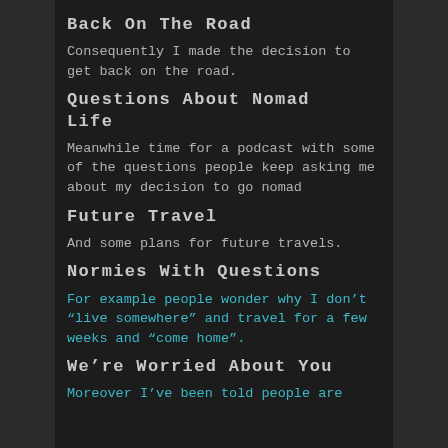Back On The Road
Consequently I made the decision to get back on the road.
Questions About Nomad Life
Meanwhile time for a podcast with some of the questions people keep asking me about my decision to go nomad
Future Travel
And some plans for future travels.
Normies With Questions
For example people wonder why I don't “live somewhere” and travel for a few weeks and “come home”.
We’re Worried About You
Moreover I've been told people are